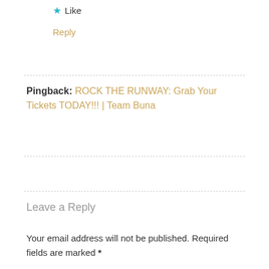★ Like
Reply
Pingback: ROCK THE RUNWAY: Grab Your Tickets TODAY!!! | Team Buna
Leave a Reply
Your email address will not be published. Required fields are marked *